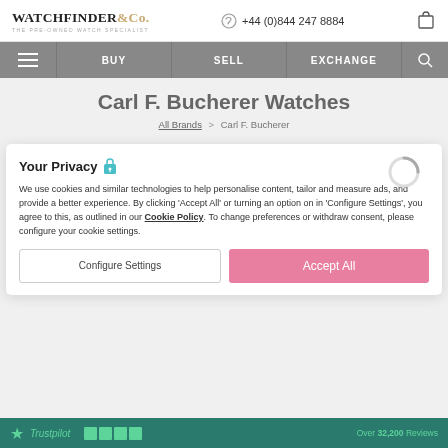WATCHFINDER&Co. THE PRE-OWNED WATCH SPECIALIST | +44 (0)844 247 8884
[Figure (screenshot): Navigation bar with menu icon, BUY, SELL, EXCHANGE, and search icon on grey background]
Carl F. Bucherer Watches
All Brands > Carl F. Bucherer
Your Privacy
We use cookies and similar technologies to help personalise content, tailor and measure ads, and provide a better experience. By clicking 'Accept All' or turning an option on in 'Configure Settings', you agree to this, as outlined in our Cookie Policy. To change preferences or withdraw consent, please configure your cookie settings.
Configure Settings | Accept All
Trustpilot | Over 32,200 Reviews